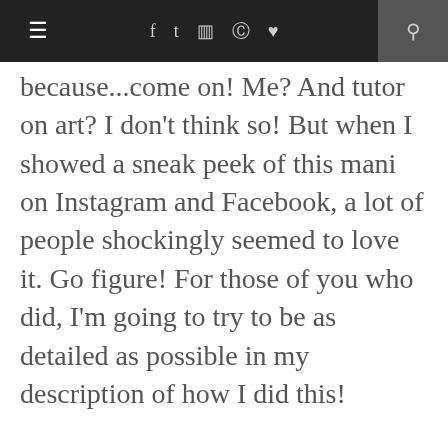≡  f  t  ☷  ⊕  ♥  🔍
because...come on! Me? And tutor on art? I don't think so! But when I showed a sneak peek of this mani on Instagram and Facebook, a lot of people shockingly seemed to love it. Go figure! For those of you who did, I'm going to try to be as detailed as possible in my description of how I did this!
First, let's start with the polishes! I used 2 coats of Sinful Colors Wisp for the base, with 1 thin coat of